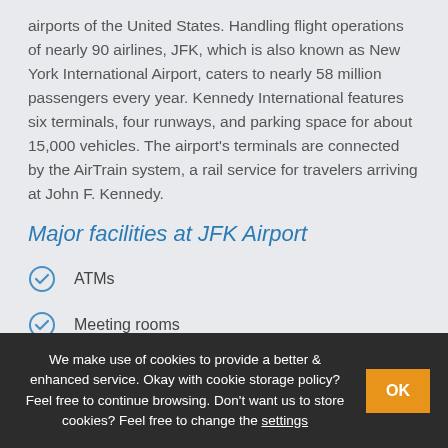airports of the United States. Handling flight operations of nearly 90 airlines, JFK, which is also known as New York International Airport, caters to nearly 58 million passengers every year. Kennedy International features six terminals, four runways, and parking space for about 15,000 vehicles. The airport's terminals are connected by the AirTrain system, a rail service for travelers arriving at John F. Kennedy.
Major facilities at JFK Airport
ATMs
Meeting rooms
Parking
We make use of cookies to provide a better & enhanced service. Okay with cookie storage policy? Feel free to continue browsing. Don't want us to store cookies? Feel free to change the settings